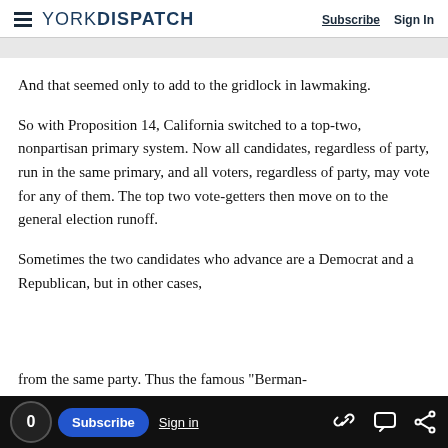YORK DISPATCH — Subscribe  Sign In
And that seemed only to add to the gridlock in lawmaking.
So with Proposition 14, California switched to a top-two, nonpartisan primary system. Now all candidates, regardless of party, run in the same primary, and all voters, regardless of party, may vote for any of them. The top two vote-getters then move on to the general election runoff.
Sometimes the two candidates who advance are a Democrat and a Republican, but in other cases,
from the same party. Thus the famous "Berman-